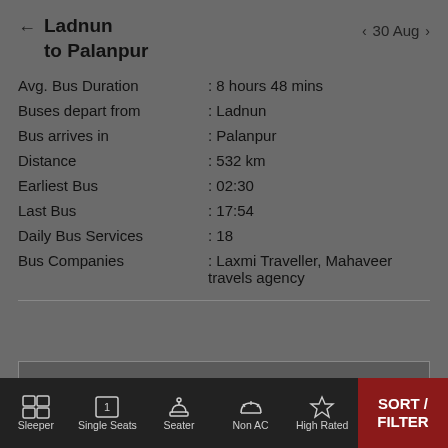Ladnun to Palanpur
30 Aug
| Field | Value |
| --- | --- |
| Avg. Bus Duration | : 8 hours 48 mins |
| Buses depart from | : Ladnun |
| Bus arrives in | : Palanpur |
| Distance | : 532 km |
| Earliest Bus | : 02:30 |
| Last Bus | : 17:54 |
| Daily Bus Services | : 18 |
| Bus Companies | : Laxmi Traveller, Mahaveer travels agency |
LADNUN TO PALANPUR BUS TIMINGS & FARE
Sleeper   Single Seats   Seater   Non AC   High Rated   SORT / FILTER